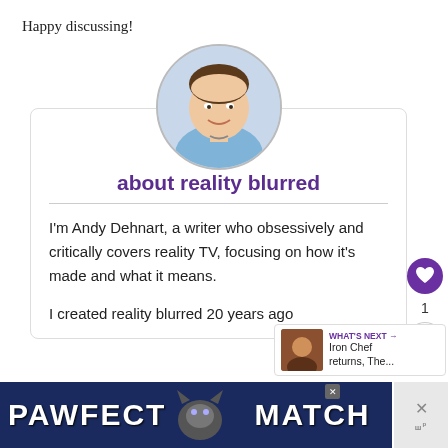Happy discussing!
[Figure (photo): Circular profile photo of Andy Dehnart, a man in a blue shirt smiling at the camera]
about reality blurred
I'm Andy Dehnart, a writer who obsessively and critically covers reality TV, focusing on how it's made and what it means.
I created reality blurred 20 years ago
[Figure (infographic): WHAT'S NEXT arrow label with Iron Chef returns, The... text and a small photo thumbnail]
[Figure (photo): PAWFECT MATCH advertisement banner with a cat image on dark blue background]